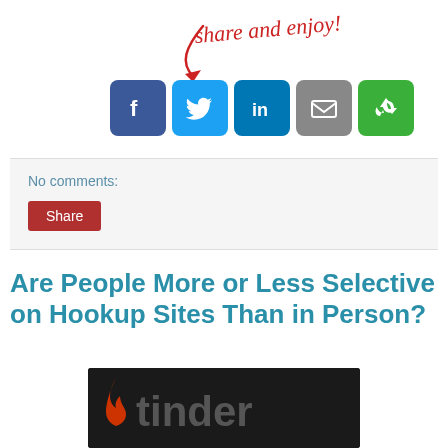[Figure (illustration): Handwritten red cursive text 'share and enjoy!' with a red arrow pointing down-left toward social media buttons]
[Figure (infographic): Row of five social media sharing buttons: Facebook (blue), Twitter (blue), LinkedIn (blue), Email (grey), share/recycle (green)]
No comments:
[Figure (other): Red 'Share' button]
Are People More or Less Selective on Hookup Sites Than in Person?
[Figure (photo): Tinder app logo on dark background showing flame icon and 'tinder' text]